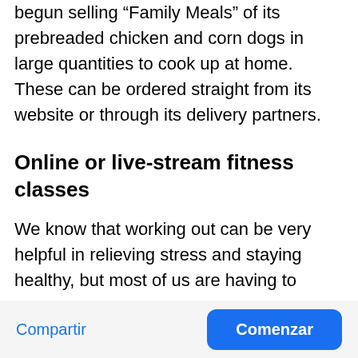begun selling “Family Meals” of its prebreaded chicken and corn dogs in large quantities to cook up at home. These can be ordered straight from its website or through its delivery partners.
Online or live-stream fitness classes
We know that working out can be very helpful in relieving stress and staying healthy, but most of us are having to